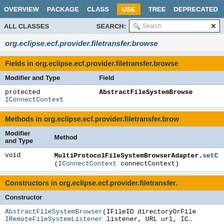OVERVIEW  PACKAGE  CLASS  USE  TREE  DEPRECATED
ALL CLASSES   SEARCH:
org.eclipse.ecf.provider.filetransfer.browse
Fields in org.eclipse.ecf.provider.filetransfer.browse
| Modifier and Type | Field |
| --- | --- |
| protected IConnectContext | AbstractFileSystemBrows... |
Methods in org.eclipse.ecf.provider.filetransfer.bro...
| Modifier and Type | Method |
| --- | --- |
| void | MultiProtocolFileSystemBrowserAdapter.setC...
(IConnectContext connectContext) |
Constructors in org.eclipse.ecf.provider.filetransfer...
| Constructor |
| --- |
| AbstractFileSystemBrowser(IFileID directoryOrFile
IRemoteFileSystemListener listener, URL url, IC... |